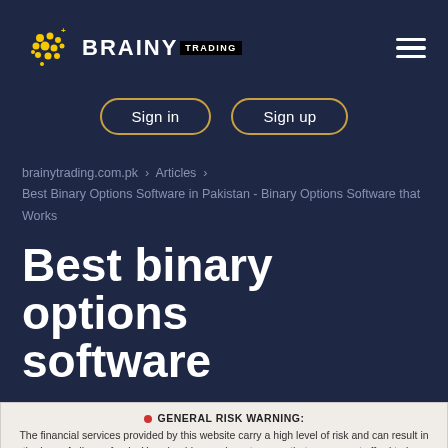[Figure (logo): Brainy Trading logo with yellow dot grid icon and white bold BRAINY text with black TRADING label box]
Sign in
Sign up
brainytrading.com.pk › Articles › Best Binary Options Software in Pakistan - Binary Options Software that Works
Best binary options software
GENERAL RISK WARNING: The financial services provided by this website carry a high level of risk and can result in the loss of all your funds. You should never invest money that you cannot afford to lose